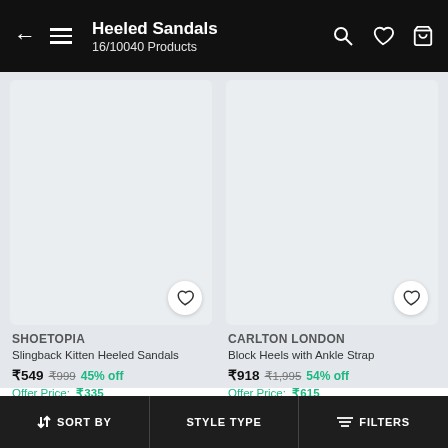Heeled Sandals — 16/10040 Products
[Figure (screenshot): Product image placeholder (light grey rectangle) for Shoetopia Slingback Kitten Heeled Sandals]
[Figure (screenshot): Product image placeholder (light grey rectangle) for Carlton London Block Heels with Ankle Strap]
SHOETOPIA
Slingback Kitten Heeled Sandals
₹549  ₹999  45% off
Offer Price:  ₹335
CARLTON LONDON
Block Heels with Ankle Strap
₹918  ₹1,995  54% off
Offer Price:  ₹615
↑↓ SORT BY    STYLE TYPE    ≡ FILTERS